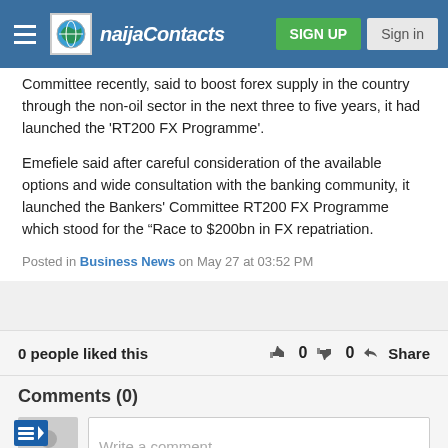naijaContacts | SIGN UP | Sign in
Committee recently, said to boost forex supply in the country through the non-oil sector in the next three to five years, it had launched the 'RT200 FX Programme'.
Emefiele said after careful consideration of the available options and wide consultation with the banking community, it launched the Bankers' Committee RT200 FX Programme which stood for the "Race to $200bn in FX repatriation.
Posted in Business News on May 27 at 03:52 PM
0 people liked this   👍 0  👎 0  < Share
Comments (0)
Write a comment